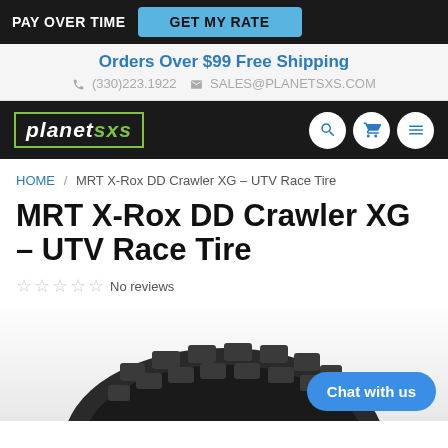PAY OVER TIME  GET MY RATE
Orders Over $99 Free Shipping
(330)223.1922  SALES@PLANETSXS.COM
[Figure (logo): Planet SXS logo in white italic text with green border, with search, cart, and menu icons]
HOME / MRT X-Rox DD Crawler XG – UTV Race Tire
MRT X-Rox DD Crawler XG – UTV Race Tire
No reviews
[Figure (photo): Close-up of a large aggressive off-road UTV tire tread, dark gray/black, partially cropped at bottom of page]
Chat with us